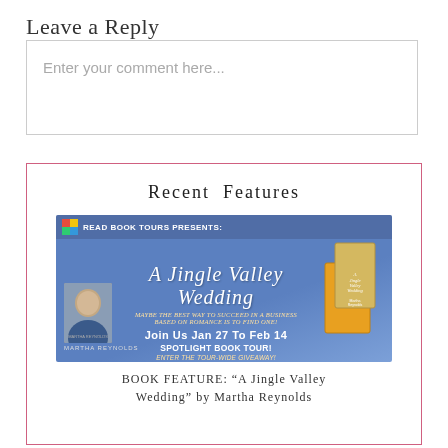Leave a Reply
Enter your comment here...
Recent Features
[Figure (illustration): Book tour banner for 'A Jingle Valley Wedding' by Martha Reynolds. Blue background with book covers on right, author photo on left, text: READ BOOK TOURS PRESENTS: A Jingle Valley Wedding. Maybe the best way to succeed in a business based on romance is to find one! JOIN US JAN 27 TO FEB 14 SPOTLIGHT BOOK TOUR! Enter the Tour-wide Giveaway! You could win the entire Happily Ever After Series!]
BOOK FEATURE: “A Jingle Valley Wedding” by Martha Reynolds